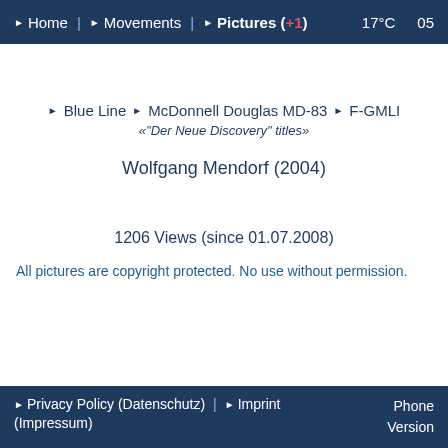► Home | ► Movements | ► Pictures (+1)    17°C    05
► Blue Line ► McDonnell Douglas MD-83 ► F-GMLI
«"Der Neue Discovery" titles»
Wolfgang Mendorf (2004)
1206 Views (since 01.07.2008)
All pictures are copyright protected. No use without permission.
► Privacy Policy (Datenschutz)  |  ► Imprint (Impressum)    Phone Version